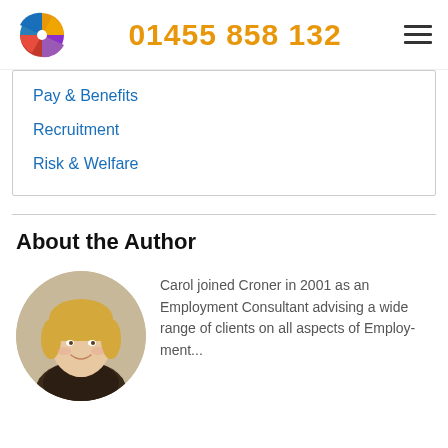01455 858 132
Pay & Benefits
Recruitment
Risk & Welfare
About the Author
[Figure (photo): Circular portrait photo of a woman with blonde hair, smiling, in an office setting]
Carol joined Croner in 2001 as an Employment Consultant advising a wide range of clients on all aspects of Employment...